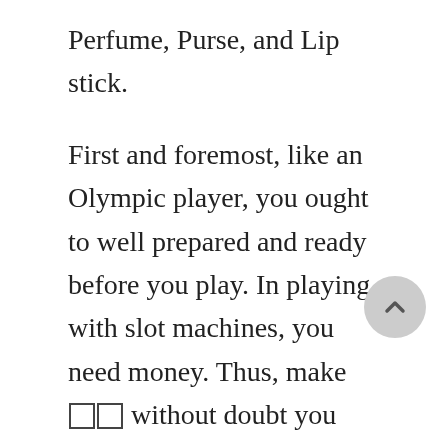Perfume, Purse, and Lip stick.
First and foremost, like an Olympic player, you ought to well prepared and ready before you play. In playing with slot machines, you need money. Thus, make ☐☐ without doubt you manage to pay for to run. Vouchers are not honored in casinos, only cash. Even if you have the cash, you might end up having debts if you do not know tips on how to manage money. So, allocate a certain amount for your game tomorrow. Strictly stick to your financial. If you have consumed equipped amount, anyone then stop, stand and say goodbye. Returning again materials rather than spending very you